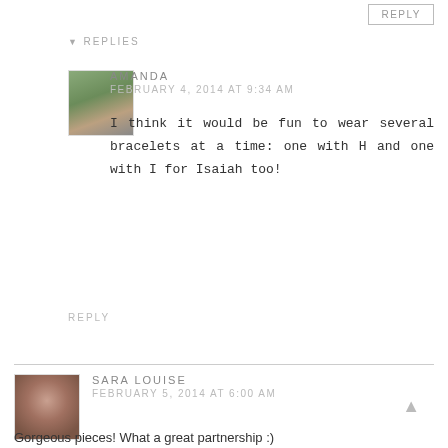REPLY
REPLIES
[Figure (photo): Small square avatar photo of Amanda showing legs/outdoor scene]
AMANDA
FEBRUARY 4, 2014 AT 9:34 AM
I think it would be fun to wear several bracelets at a time: one with H and one with I for Isaiah too!
REPLY
[Figure (photo): Small square avatar photo of Sara Louise, a woman]
SARA LOUISE
FEBRUARY 5, 2014 AT 6:00 AM
Gorgeous pieces! What a great partnership :)